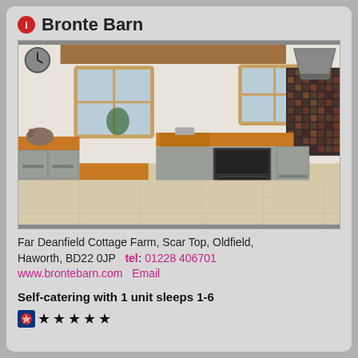Bronte Barn
[Figure (photo): Interior kitchen photo showing grey shaker-style cabinets with wooden butcher block countertops, stainless steel appliances, two windows, and mosaic tile backsplash]
Far Deanfield Cottage Farm, Scar Top, Oldfield, Haworth, BD22 0JP   tel: 01228 406701
www.brontebarn.com   Email
Self-catering with 1 unit sleeps 1-6
[Figure (logo): VisitEngland rose quality marque badge followed by 5 black stars rating]